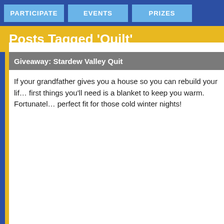PARTICIPATE | EVENTS | PRIZES
Posts Tagged ‘Quilt’
Giveaway: Stardew Valley Quit
If your grandfather gives you a house so you can rebuild your life, one of the first things you'll need is a blanket to keep you warm. Fortunately, we have the perfect fit for those cold winter nights!